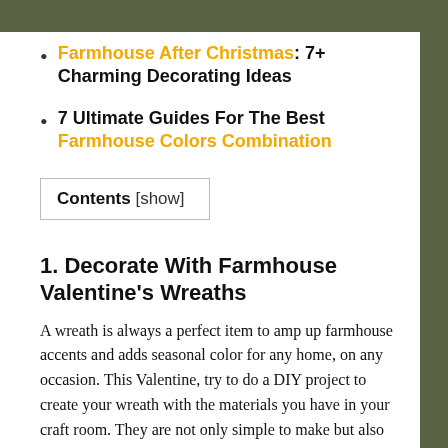Farmhouse After Christmas: 7+ Charming Decorating Ideas
7 Ultimate Guides For The Best Farmhouse Colors Combination
Contents [show]
1. Decorate With Farmhouse Valentine's Wreaths
A wreath is always a perfect item to amp up farmhouse accents and adds seasonal color for any home, on any occasion. This Valentine, try to do a DIY project to create your wreath with the materials you have in your craft room. They are not only simple to make but also